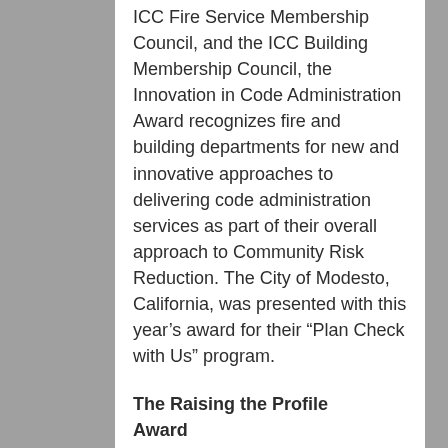ICC Fire Service Membership Council, and the ICC Building Membership Council, the Innovation in Code Administration Award recognizes fire and building departments for new and innovative approaches to delivering code administration services as part of their overall approach to Community Risk Reduction. The City of Modesto, California, was presented with this year's award for their “Plan Check with Us” program.
The Raising the Profile Award
recognizes an individual or organization for acts or contributions that raise the public awareness of